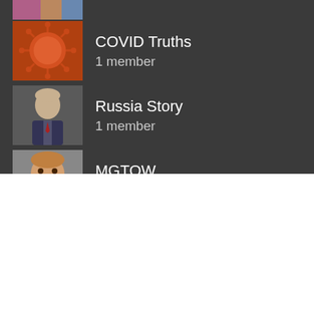[Figure (screenshot): Partial thumbnail at top — cropped group image]
COVID Truths
1 member
Russia Story
1 member
MGTOW
1 member
[Figure (screenshot): Partially visible list item at bottom of dark section]
We use cookies on our website to give you the most relevant experience by remembering your preferences and repeat visits. By clicking “Accept All”, you consent to the use of ALL the cookies. However, you may visit “Cookie Settings” to provide a controlled consent.
Cookie Settings   Accept All